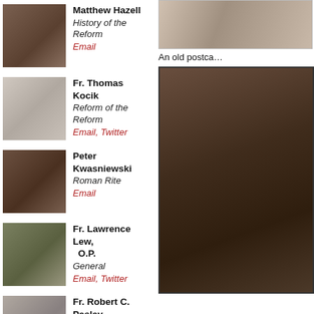[Figure (photo): Photo of Matthew Hazell]
Matthew Hazell
History of the Reform
Email
[Figure (photo): Photo of Fr. Thomas Kocik]
Fr. Thomas Kocik
Reform of the Reform
Email, Twitter
[Figure (photo): Photo of Peter Kwasniewski]
Peter Kwasniewski
Roman Rite
Email
[Figure (photo): Photo of Fr. Lawrence Lew, O.P.]
Fr. Lawrence Lew, O.P.
General
Email, Twitter
[Figure (photo): Photo of Fr. Robert C. Pasley, KCHS]
Fr. Robert C. Pasley, KCHS
Parish Priest, Chaplain, CMAA
Email
[Figure (photo): Photo of William Riccio]
William Riccio
Roman Rite
Email
[Figure (photo): Partial old postcard image (top right)]
An old postca…
[Figure (photo): Old sepia/dark photograph (right column, large)]